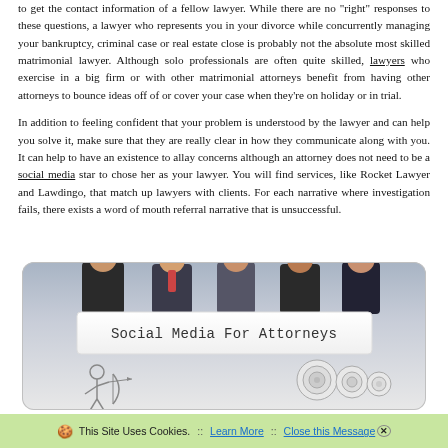to get the contact information of a fellow lawyer. While there are no "right" responses to these questions, a lawyer who represents you in your divorce while concurrently managing your bankruptcy, criminal case or real estate close is probably not the absolute most skilled matrimonial lawyer. Although solo professionals are often quite skilled, lawyers who exercise in a big firm or with other matrimonial attorneys benefit from having other attorneys to bounce ideas off of or cover your case when they're on holiday or in trial.

In addition to feeling confident that your problem is understood by the lawyer and can help you solve it, make sure that they are really clear in how they communicate along with you. It can help to have an existence to allay concerns although an attorney does not need to be a social media star to chose her as your lawyer. You will find services, like Rocket Lawyer and Lawdingo, that match up lawyers with clients. For each narrative where investigation fails, there exists a word of mouth referral narrative that is unsuccessful.
[Figure (photo): Photo of people in business attire holding a white banner that reads 'Social Media For Attorneys', with cartoon illustrations below]
🍪 This Site Uses Cookies.  ::  Learn More  ::  Close this Message ✕